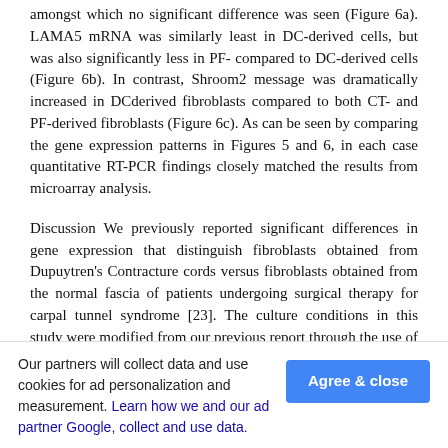amongst which no significant difference was seen (Figure 6a). LAMA5 mRNA was similarly least in DC-derived cells, but was also significantly less in PF- compared to DC-derived cells (Figure 6b). In contrast, Shroom2 message was dramatically increased in DCderived fibroblasts compared to both CT- and PF-derived fibroblasts (Figure 6c). As can be seen by comparing the gene expression patterns in Figures 5 and 6, in each case quantitative RT-PCR findings closely matched the results from microarray analysis.
Discussion We previously reported significant differences in gene expression that distinguish fibroblasts obtained from Dupuytren's Contracture cords versus fibroblasts obtained from the normal fascia of patients undergoing surgical therapy for carpal tunnel syndrome [23]. The culture conditions in this study were modified from our previous report through the use of a type-1 collagen substrate as opposed to an uncoated standard plastic surface. Although the morphological phenotype of the fibroblasts appeared unaffected, many more differentially expressed genes (894 total) were detected in DC versus CT fibroblasts compared to
Our partners will collect data and use cookies for ad personalization and measurement. Learn how we and our ad partner Google, collect and use data. Agree & close